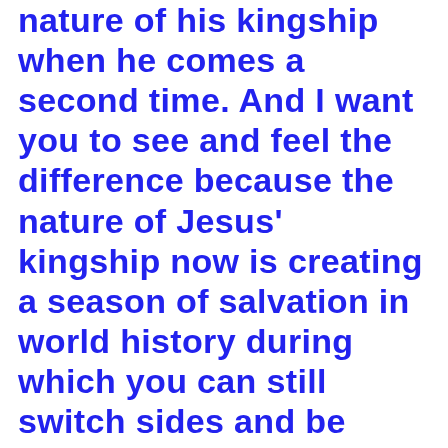nature of his kingship when he comes a second time. And I want you to see and feel the difference because the nature of Jesus' kingship now is creating a season of salvation in world history during which you can still switch sides and be saved from his wrath and judgment. There is still time – even now this morning – when you can accept the amnesty that King Jesus holds out to you, and renounce